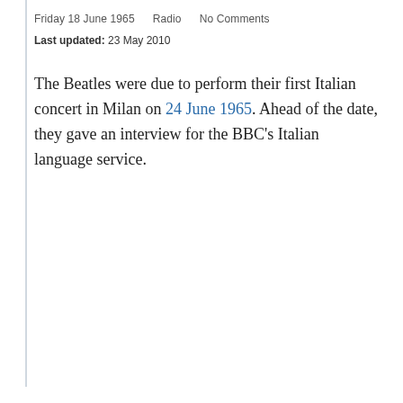Friday 18 June 1965    Radio    No Comments
Last updated: 23 May 2010
The Beatles were due to perform their first Italian concert in Milan on 24 June 1965. Ahead of the date, they gave an interview for the BBC's Italian language service.